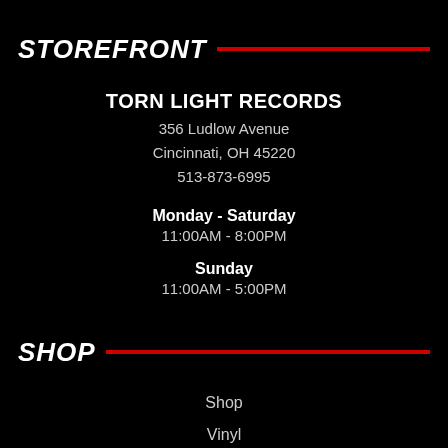STOREFRONT
TORN LIGHT RECORDS
356 Ludlow Avenue
Cincinnati, OH 45220
513-873-6995
Monday - Saturday
11:00AM - 8:00PM
Sunday
11:00AM - 5:00PM
SHOP
Shop
Vinyl
CD